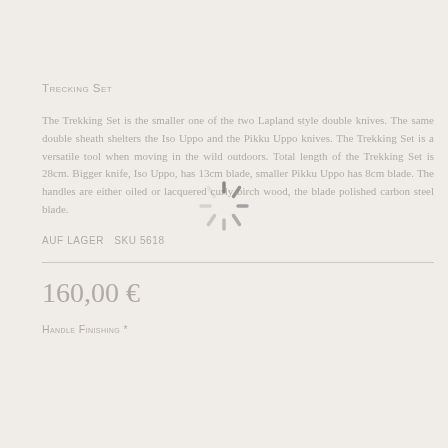Trecking Set
The Trekking Set is the smaller one of the two Lapland style double knives. The same double sheath shelters the Iso Uppo and the Pikku Uppo knives. The Trekking Set is a versatile tool when moving in the wild outdoors. Total length of the Trekking Set is 28cm. Bigger knife, Iso Uppo, has 13cm blade, smaller Pikku Uppo has 8cm blade. The handles are either oiled or lacquered curly birch wood, the blade polished carbon steel blade.
AUF LAGER   SKU 5618
160,00 €
Handle Finishing *